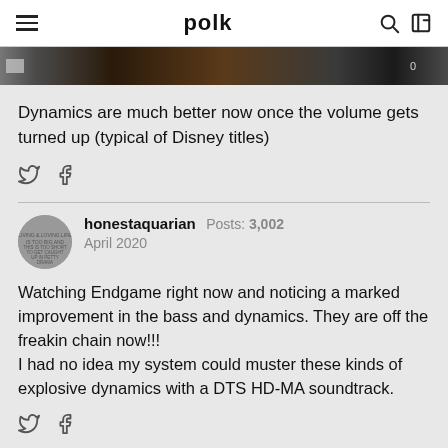polk
[Figure (photo): Partial screenshot of a movie scene, dark tones]
Dynamics are much better now once the volume gets turned up (typical of Disney titles)
honestaquarian  Posts: 3,002  April 2020
Watching Endgame right now and noticing a marked improvement in the bass and dynamics. They are off the freakin chain now!!!
I had no idea my system could muster these kinds of explosive dynamics with a DTS HD-MA soundtrack.